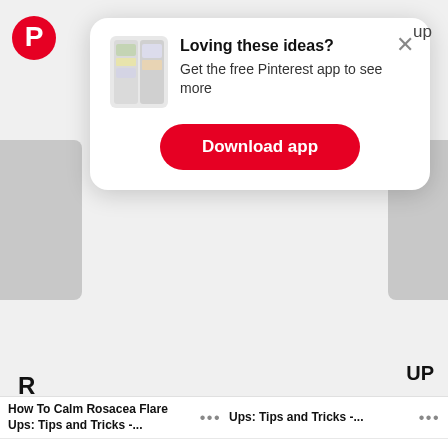[Figure (screenshot): Pinterest app-download prompt card showing thumbnail images, bold headline 'Loving these ideas? Get the free Pinterest app to see more', and red Download app button]
[Figure (screenshot): Background Pinterest feed visible on left and right sides of the popup card]
How To Calm Rosacea Flare Ups: Tips and Tricks -...
Ups: Tips and Tricks -...
[Figure (screenshot): Google Sign in with Google bar with G logo and X close button]
Use your Google Account to sign in to Pinterest
No more passwords to remember. Signing in is fast, simple and secure.
[Figure (illustration): Google key illustration with colorful circles and a golden key]
Continue